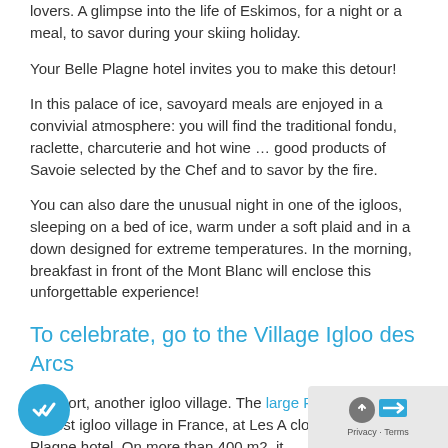lovers. A glimpse into the life of Eskimos, for a night or a meal, to savor during your skiing holiday.
Your Belle Plagne hotel invites you to make this detour!
In this palace of ice, savoyard meals are enjoyed in a convivial atmosphere: you will find the traditional fondu, raclette, charcuterie and hot wine … good products of Savoie selected by the Chef and to savor by the fire.
You can also dare the unusual night in one of the igloos, sleeping on a bed of ice, warm under a soft plaid and in a down designed for extreme temperatures. In the morning, breakfast in front of the Mont Blanc will enclose this unforgettable experience!
To celebrate, go to the Village Igloo des Arcs
er resort, another igloo village. The large Paradi te has the largest igloo village in France, at Les A close to your Belle Plagne hotel. On more than 400 m2, it